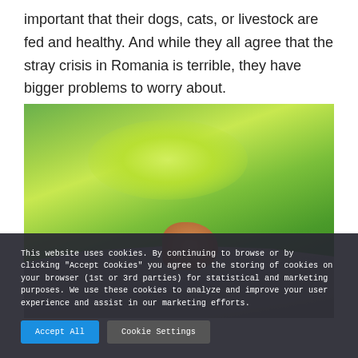important that their dogs, cats, or livestock are fed and healthy. And while they all agree that the stray crisis in Romania is terrible, they have bigger problems to worry about.
[Figure (photo): A dog or small animal resting on a grey quilted blanket/mat laid out on green grass in sunlight, viewed from above.]
This website uses cookies. By continuing to browse or by clicking "Accept Cookies" you agree to the storing of cookies on your browser (1st or 3rd parties) for statistical and marketing purposes. We use these cookies to analyze and improve your user experience and assist in our marketing efforts.
Accept All   Cookie Settings